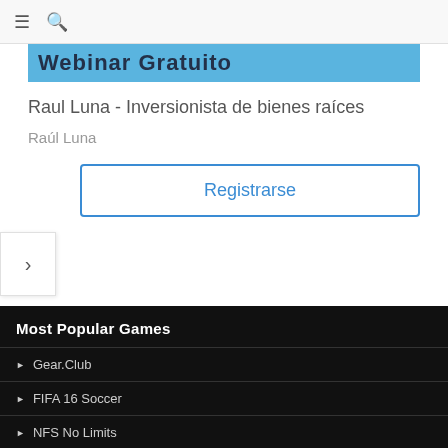≡  🔍
[Figure (screenshot): Partial blue banner with text 'Webinar Gratuito' partially visible]
Raul Luna - Inversionista de bienes raíces
Raúl Luna
Registrarse
Most Popular Games
Gear.Club
FIFA 16 Soccer
NFS No Limits